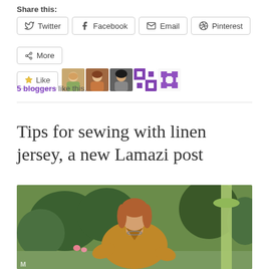Share this:
Twitter  Facebook  Email  Pinterest  More
[Figure (other): Like button widget with 5 blogger avatars]
5 bloggers like this.
Tips for sewing with linen jersey, a new Lamazi post
[Figure (photo): Woman wearing a golden/mustard linen jersey top standing in a garden with green trees and a light green parasol in the background]